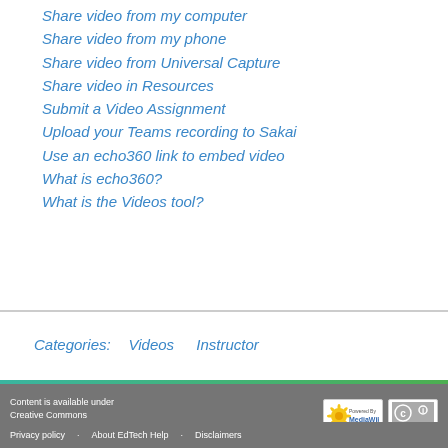Share video from my computer
Share video from my phone
Share video from Universal Capture
Share video in Resources
Submit a Video Assignment
Upload your Teams recording to Sakai
Use an echo360 link to embed video
What is echo360?
What is the Videos tool?
Categories:  Videos    Instructor
Content is available under Creative Commons Attribution unless otherwise noted.
Privacy policy   About EdTech Help   Disclaimers